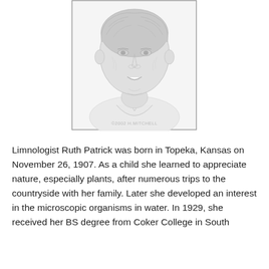[Figure (illustration): A pencil sketch portrait of an elderly woman (Ruth Patrick), showing her face and upper shoulders. She is smiling. A copyright notice '©2002 H.MITCHELL' appears at the bottom of the portrait inside a rectangular border.]
Limnologist Ruth Patrick was born in Topeka, Kansas on November 26, 1907. As a child she learned to appreciate nature, especially plants, after numerous trips to the countryside with her family. Later she developed an interest in the microscopic organisms in water. In 1929, she received her BS degree from Coker College in South